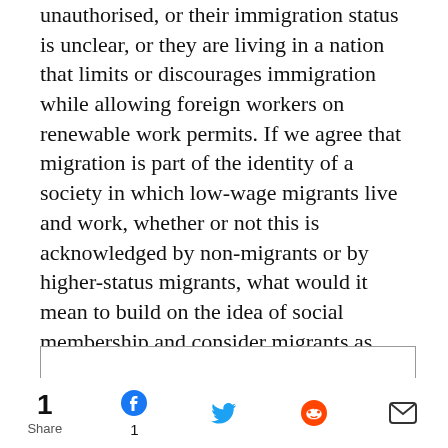unauthorised, or their immigration status is unclear, or they are living in a nation that limits or discourages immigration while allowing foreign workers on renewable work permits. If we agree that migration is part of the identity of a society in which low-wage migrants live and work, whether or not this is acknowledged by non-migrants or by higher-status migrants, what would it mean to build on the idea of social membership and consider migrants as social citizens of the place in which they have settled? And what realistic work can the idea of social citizenship do in terms of improving conditions for migrants and supporting policy development?
[Figure (other): Empty bordered box (comment or input area)]
1 Share | Facebook 1 | Twitter | Reddit | Email